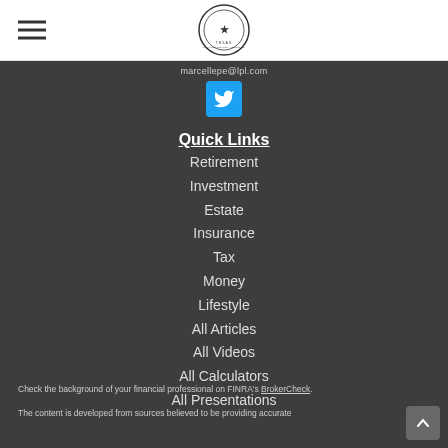[Figure (logo): Texas Private Wealth Advisors circular seal/logo with star]
marcellepe@lpl.com
[Figure (other): Twitter blue button icon]
Quick Links
Retirement
Investment
Estate
Insurance
Tax
Money
Lifestyle
All Articles
All Videos
All Calculators
All Presentations
Check the background of your financial professional on FINRA's BrokerCheck.
The content is developed from sources believed to be providing accurate